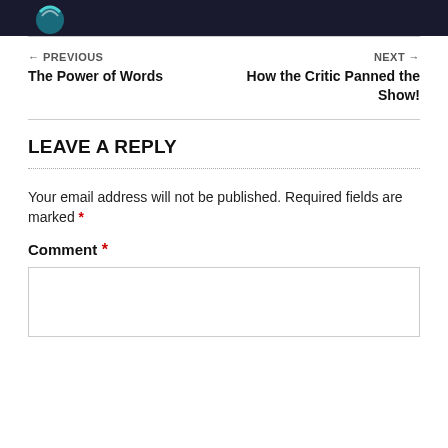[Figure (other): Top dark banner with teal/blue logo partially visible]
← PREVIOUS
The Power of Words
NEXT →
How the Critic Panned the Show!
LEAVE A REPLY
Your email address will not be published. Required fields are marked *
Comment *